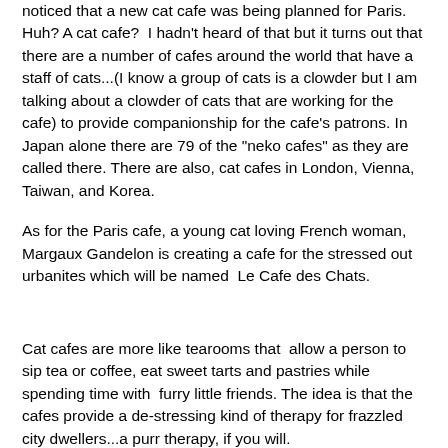noticed that a new cat cafe was being planned for Paris. Huh? A cat cafe?  I hadn't heard of that but it turns out that there are a number of cafes around the world that have a staff of cats...(I know a group of cats is a clowder but I am talking about a clowder of cats that are working for the cafe) to provide companionship for the cafe's patrons. In Japan alone there are 79 of the "neko cafes" as they are called there. There are also, cat cafes in London, Vienna, Taiwan, and Korea.
As for the Paris cafe, a young cat loving French woman, Margaux Gandelon is creating a cafe for the stressed out urbanites which will be named  Le Cafe des Chats.
Cat cafes are more like tearooms that  allow a person to sip tea or coffee, eat sweet tarts and pastries while spending time with  furry little friends. The idea is that the cafes provide a de-stressing kind of therapy for frazzled city dwellers...a purr therapy, if you will.
While most Parisians like cats, there are some naysayers to...